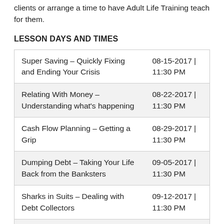clients or arrange a time to have Adult Life Training teach for them.
LESSON DAYS AND TIMES
| Lesson | Date | Time |
| --- | --- |
| Super Saving – Quickly Fixing and Ending Your Crisis | 08-15-2017 | 11:30 PM |
| Relating With Money – Understanding what's happening | 08-22-2017 | 11:30 PM |
| Cash Flow Planning – Getting a Grip | 08-29-2017 | 11:30 PM |
| Dumping Debt – Taking Your Life Back from the Banksters | 09-05-2017 | 11:30 PM |
| Sharks in Suits – Dealing with Debt Collectors | 09-12-2017 | 11:30 PM |
| Buyer Beware – Beating the Marketing Machines | 09-19-2017 | 11:30 PM |
| That's Not Good Enough! – Getting the Best Deal | 09-26-2017 | 11:30 PM |